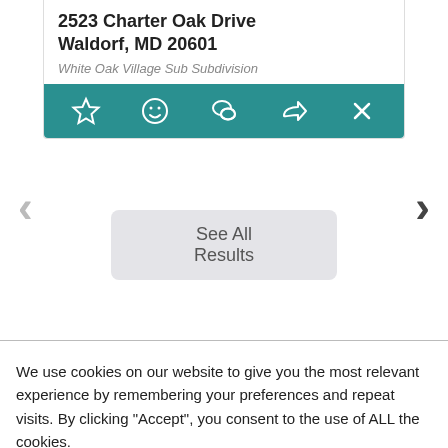2523 Charter Oak Drive
Waldorf, MD 20601
White Oak Village Sub Subdivision
[Figure (screenshot): Teal action bar with icons: star (favorite), smiley face (reaction), speech bubble (comment), share arrow, and X (close)]
[Figure (screenshot): Navigation arrows: left chevron (light gray) and right chevron (dark gray) for carousel navigation, with a 'See All Results' button in the center]
We use cookies on our website to give you the most relevant experience by remembering your preferences and repeat visits. By clicking "Accept", you consent to the use of ALL the cookies.
Cookie settings
ACCEPT